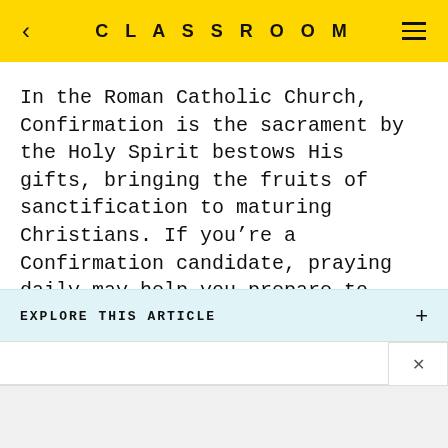CLASSROOM
In the Roman Catholic Church, Confirmation is the sacrament by the Holy Spirit bestows His gifts, bringing the fruits of sanctification to maturing Christians. If you’re a Confirmation candidate, praying daily may help you prepare to receive the sacrament. Confirmation prayers often focus on inspiration, sanctification, discipleship and righteous living.
EXPLORE THIS ARTICLE